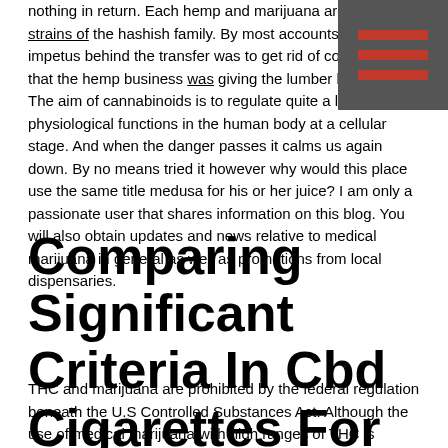nothing in return. Each hemp and marijuana are classes of strains of the hashish family. By most accounts the impetus behind the transfer was to get rid of competition that the hemp business was giving the lumber business. The aim of cannabinoids is to regulate quite a lot of physiological functions in the human body at a cellular stage. And when the danger passes it calms us again down. By no means tried it however why would this place use the same title medusa for his or her juice? I am only a passionate user that shares information on this blog. You will also obtain updates and news relative to medical marijuana in general as well as promotions from local dispensaries.
Comparing Significant Criteria In Cbd Cigarettes For Sale
THC and marijuana are prohibited by the federal regulation beneath the U.S Controlled Substances Act. Although the use of medical marijuana with high ranges of THC is allowed in most states, its sale